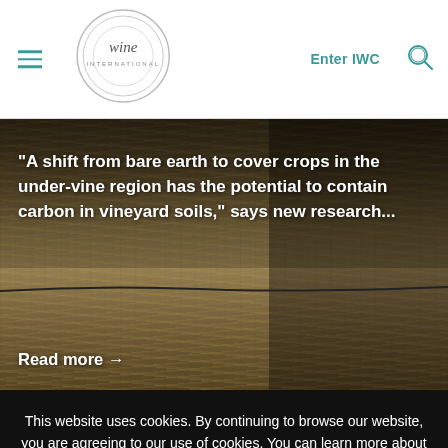Navigation bar with hamburger menu, wine logo, Enter IWC link, and search icon
[Figure (photo): A person walking in a vineyard with dry grass cover crops beneath the vines, showing the under-vine region with irrigation drip line visible.]
“A shift from bare earth to cover crops in the under-vine region has the potential to contain carbon in vineyard soils,” says new research...
Read more →
This website uses cookies. By continuing to browse our website, you are agreeing to our use of cookies. You can learn more about cookies by visiting our privacy & cookies policy page.
I Agree